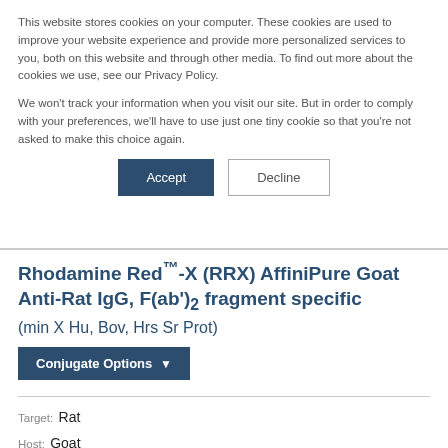This website stores cookies on your computer. These cookies are used to improve your website experience and provide more personalized services to you, both on this website and through other media. To find out more about the cookies we use, see our Privacy Policy.
We won't track your information when you visit our site. But in order to comply with your preferences, we'll have to use just one tiny cookie so that you're not asked to make this choice again.
Accept | Decline
Rhodamine Red™-X (RRX) AffiniPure Goat Anti-Rat IgG, F(ab')₂ fragment specific
(min X Hu, Bov, Hrs Sr Prot)
Conjugate Options ▾
Target: Rat
Host: Goat
Antibody Format: Whole IgG